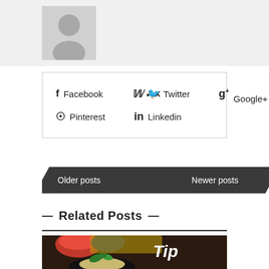[Figure (photo): Generic user avatar placeholder image (gray silhouette on light gray background)]
Facebook
Twitter
Google+
Pinterest
Linkedin
Older posts
Newer posts
— Related Posts —
[Figure (photo): Food photograph showing a dark plate with pasta garnished with fresh basil leaves, with colorful bowls and text 'Tip' in the background]